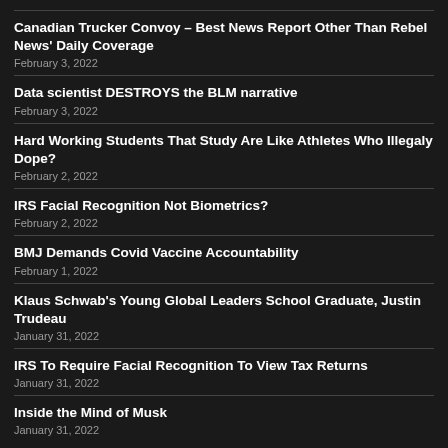Canadian Trucker Convoy – Best News Report Other Than Rebel News' Daily Coverage
February 3, 2022
Data scientist DESTROYS the BLM narrative
February 3, 2022
Hard Working Students That Study Are Like Athletes Who Illegaly Dope?
February 2, 2022
IRS Facial Recognition Not Biometrics?
February 2, 2022
BMJ Demands Covid Vaccine Accountability
February 1, 2022
Klaus Schwab's Young Global Leaders School Graduate, Justin Trudeau
January 31, 2022
IRS To Require Facial Recognition To View Tax Returns
January 31, 2022
Inside the Mind of Musk
January 31, 2022